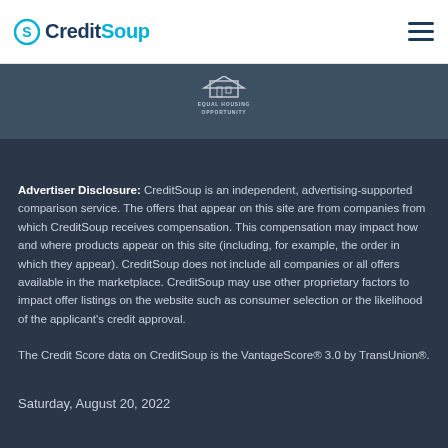CreditSoup
[Figure (logo): Equal Housing Opportunity logo with text]
Advertiser Disclosure: CreditSoup is an independent, advertising-supported comparison service. The offers that appear on this site are from companies from which CreditSoup receives compensation. This compensation may impact how and where products appear on this site (including, for example, the order in which they appear). CreditSoup does not include all companies or all offers available in the marketplace. CreditSoup may use other proprietary factors to impact offer listings on the website such as consumer selection or the likelihood of the applicant's credit approval.
The Credit Score data on CreditSoup is the VantageScore® 3.0 by TransUnion®.
Saturday, August 20, 2022